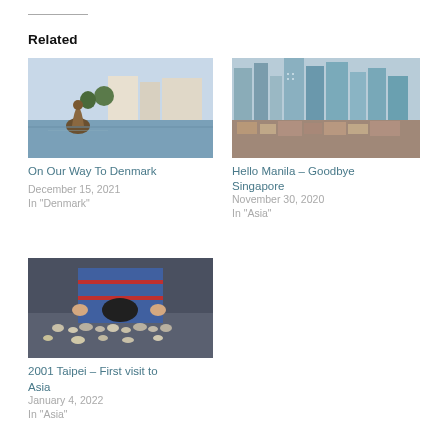Related
[Figure (photo): Bronze mermaid statue by waterfront with buildings in background — On Our Way To Denmark]
On Our Way To Denmark
December 15, 2021
In "Denmark"
[Figure (photo): Aerial view of Manila cityscape with skyscrapers and dense urban area — Hello Manila - Goodbye Singapore]
Hello Manila – Goodbye Singapore
November 30, 2020
In "Asia"
[Figure (photo): Person wearing blue jacket bending over street market stall with small items for sale — 2001 Taipei First visit to Asia]
2001 Taipei – First visit to Asia
January 4, 2022
In "Asia"